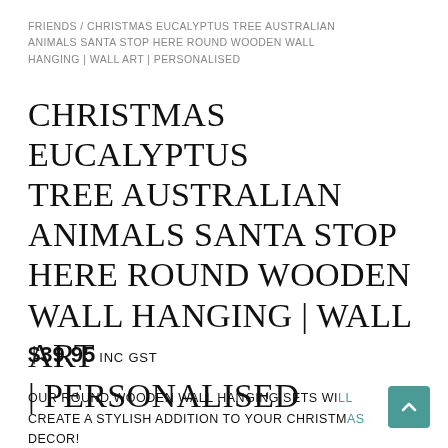FRIENDS / CHRISTMAS EUCALYPTUS TREE AUSTRALIAN ANIMALS SANTA STOP HERE ROUND WOODEN WALL HANGING | WALL ART | PERSONALISED
CHRISTMAS EUCALYPTUS TREE AUSTRALIAN ANIMALS SANTA STOP HERE ROUND WOODEN WALL HANGING | WALL ART | PERSONALISED
$39.95 INC GST
OUR ROUND WOODEN WALL HANGING SETS WILL CREATE A STYLISH ADDITION TO YOUR CHRISTMAS DECOR!